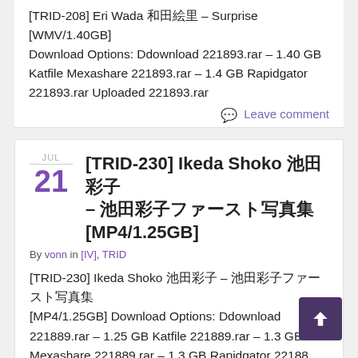[TRID-208] Eri Wada 和田絵里 – Surprise [WMV/1.40GB] Download Options: Ddownload 221893.rar – 1.40 GB Katfile Mexashare 221893.rar – 1.4 GB Rapidgator 221893.rar Uploaded 221893.rar
Leave comment
[TRID-230] Ikeda Shoko 池田彩子 – 池田彩子ファースト写真集 [MP4/1.25GB]
By vonn in [IV], TRID
[TRID-230] Ikeda Shoko 池田彩子 – 池田彩子ファースト写真集 [MP4/1.25GB] Download Options: Ddownload 221889.rar – 1.25 GB Katfile 221889.rar – 1.3 GB Mexashare 221889.rar – 1.3 GB Rapidgator 22188... Uploaded 221889.rar